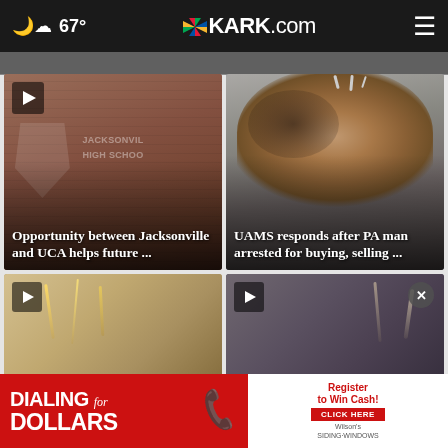🌙☁ 67° KARK.com ≡
[Figure (photo): Jacksonville High School building exterior with brick facade and school sign]
Opportunity between Jacksonville and UCA helps future ...
[Figure (photo): Mugshot of tattooed man with spikes on his head]
UAMS responds after PA man arrested for buying, selling ...
[Figure (photo): Partial view of lower story card with golden/metallic decorations]
[Figure (photo): Partial view of lower story card, dark background]
[Figure (advertisement): Dialing for Dollars advertisement — Register to Win Cash! CLICK HERE — Wilson's Siding & Windows]